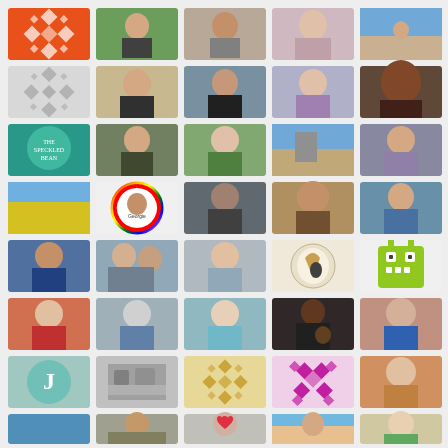[Figure (photo): Grid of 40 profile photos, avatars, and graphic icons arranged in 8 rows and 5 columns on a light gray background. Includes portrait photos of people, quilt pattern graphics, logos, and decorative icons.]